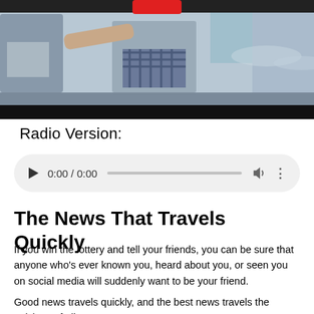[Figure (photo): Video thumbnail showing people at a beach, with a red play button overlay at the top center and a black bar at the bottom.]
Radio Version:
[Figure (screenshot): Audio player UI with play button, time display showing 0:00 / 0:00, progress bar, volume icon, and more options icon on a light gray rounded rectangle background.]
The News That Travels Quickly
If you win the lottery and tell your friends, you can be sure that anyone who's ever known you, heard about you, or seen you on social media will suddenly want to be your friend.
Good news travels quickly, and the best news travels the quickest of all!